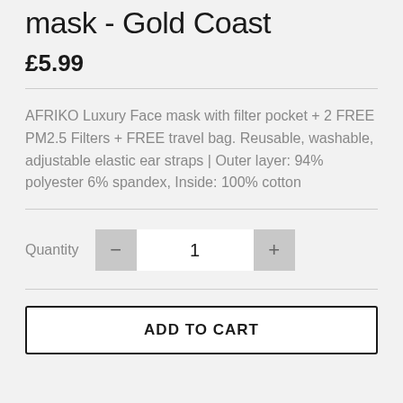mask - Gold Coast
£5.99
AFRIKO Luxury Face mask with filter pocket + 2 FREE PM2.5 Filters + FREE travel bag. Reusable, washable, adjustable elastic ear straps | Outer layer: 94% polyester 6% spandex, Inside: 100% cotton
Quantity 1